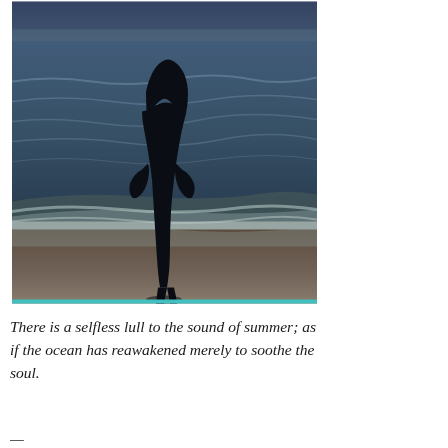[Figure (photo): A silhouette of a woman with long hair standing on a beach at dusk, facing the ocean waves. The sky and water are dark blue-grey tones. A teal/cyan thin bar appears at the bottom edge of the photo.]
There is a selfless lull to the sound of summer; as if the ocean has reawakened merely to soothe the soul.
(partial/cut-off text at bottom)